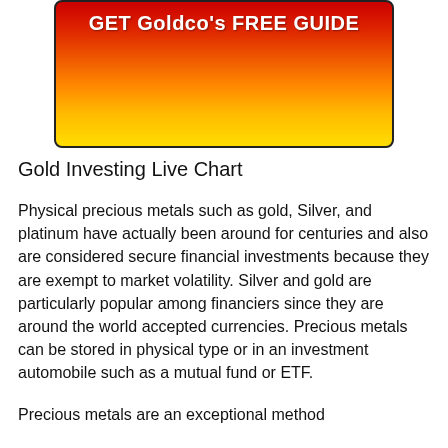[Figure (other): Red to yellow gradient banner button with white bold text reading 'GET Goldco's FREE GUIDE']
Gold Investing Live Chart
Physical precious metals such as gold, Silver, and platinum have actually been around for centuries and also are considered secure financial investments because they are exempt to market volatility. Silver and gold are particularly popular among financiers since they are around the world accepted currencies. Precious metals can be stored in physical type or in an investment automobile such as a mutual fund or ETF.
Precious metals are an exceptional method